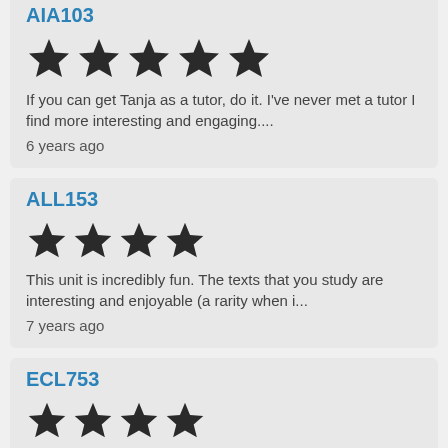AIA103
[Figure (other): 5 filled stars rating]
If you can get Tanja as a tutor, do it. I've never met a tutor I find more interesting and engaging....
6 years ago
ALL153
[Figure (other): 4 filled stars rating]
This unit is incredibly fun. The texts that you study are interesting and enjoyable (a rarity when i...
7 years ago
ECL753
[Figure (other): 4 filled stars rating]
...r...this unit, the assessment consists of the unit of Tanja...